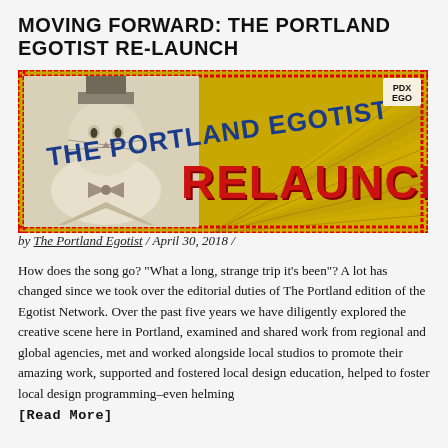MOVING FORWARD: THE PORTLAND EGOTIST RE-LAUNCH
[Figure (illustration): The Portland Egotist Relaunch banner image with a cat mascot in a suit on the left, diagonal rays on a golden/yellow background, 'THE PORTLAND EGOTIST' text in blue, 'RELAUNCH' in large red letters, and 'PDX EGO' logo in upper right.]
by The Portland Egotist / April 30, 2018 /
How does the song go? "What a long, strange trip it's been"? A lot has changed since we took over the editorial duties of The Portland edition of the Egotist Network. Over the past five years we have diligently explored the creative scene here in Portland, examined and shared work from regional and global agencies, met and worked alongside local studios to promote their amazing work, supported and fostered local design education, helped to foster local design programming–even helming
[Read More]